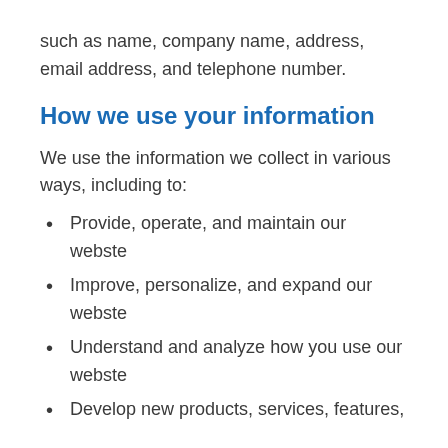such as name, company name, address, email address, and telephone number.
How we use your information
We use the information we collect in various ways, including to:
Provide, operate, and maintain our webste
Improve, personalize, and expand our webste
Understand and analyze how you use our webste
Develop new products, services, features, and functionality...